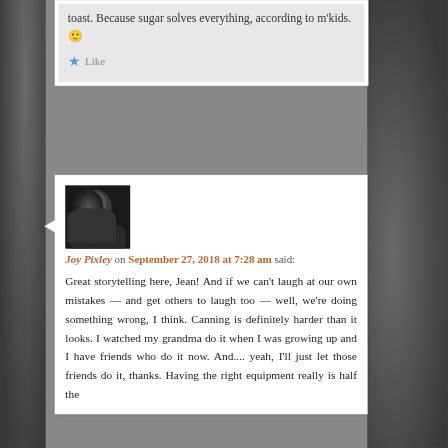toast. Because sugar solves everything, according to m'kids. 🙂
Like
[Figure (photo): Black and white photo of a person reading a book]
Joy Pixley on September 27, 2018 at 7:28 am said:
Great storytelling here, Jean! And if we can't laugh at our own mistakes — and get others to laugh too — well, we're doing something wrong, I think. Canning is definitely harder than it looks. I watched my grandma do it when I was growing up and I have friends who do it now. And.... yeah, I'll just let those friends do it, thanks. Having the right equipment really is half the